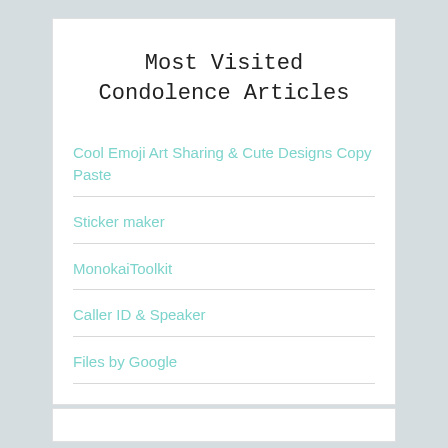Most Visited Condolence Articles
Cool Emoji Art Sharing & Cute Designs Copy Paste
Sticker maker
MonokaiToolkit
Caller ID & Speaker
Files by Google